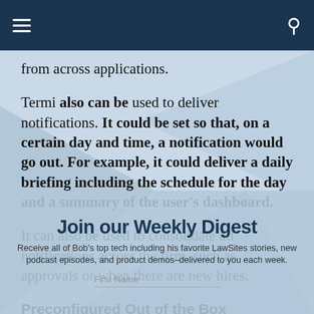from across applications.
Termi also can be used to deliver notifications. It could be set so that, on a certain day and time, a notification would go out. For example, it could deliver a daily briefing including the schedule for the day and a summary of the user's dashboard.
It can also be used to consolidate all notifications across the firm, such as approvals or when there are new hires.
Preconfigured Out of the Box
The standard version of Termi comes preconfigured out of the box to handle a range of questions, but firm
[Figure (infographic): Join our Weekly Digest modal overlay with subtitle text: Receive all of Bob's top tech including his favorite LawSites stories, new podcast episodes, and product demos–delivered to you each week. First Name input placeholder visible.]